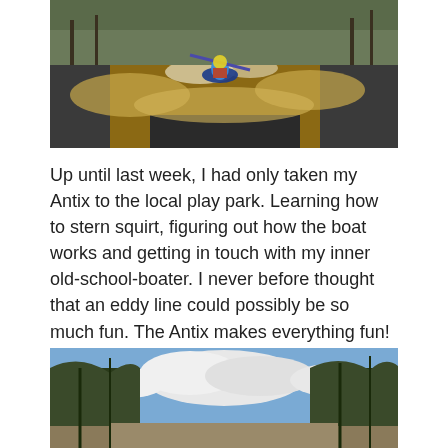[Figure (photo): Kayaker paddling through whitewater rapids on a river, with brown turbulent water and rocky banks, surrounded by bare winter trees.]
Up until last week, I had only taken my Antix to the local play park. Learning how to stern squirt, figuring out how the boat works and getting in touch with my inner old-school-boater. I never before thought that an eddy line could possibly be so much fun. The Antix makes everything fun!
[Figure (photo): Scenic outdoor landscape with tall trees framing a view of a partly cloudy blue sky, taken near a river or trail in winter/early spring.]